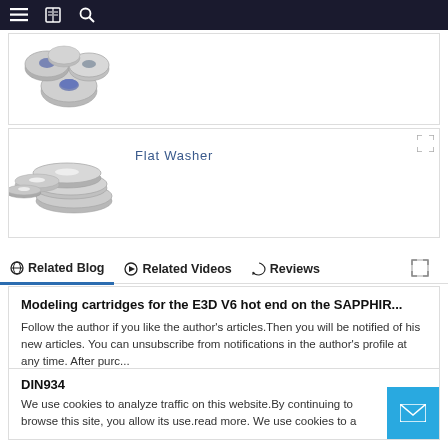Navigation bar with menu, book, and search icons
[Figure (photo): Photo of several stainless steel nylon lock nuts grouped together on white background]
[Figure (photo): Photo of stainless steel flat washers stacked and spread on white background]
Flat Washer
Related Blog  Related Videos  Reviews
Modeling cartridges for the E3D V6 hot end on the SAPPHIR...
Follow the author if you like the author's articles.Then you will be notified of his new articles. You can unsubscribe from notifications in the author's profile at any time. After purc...
DIN934
We use cookies to analyze traffic on this website.By continuing to browse this site, you allow its use.read more. We use cookies to a